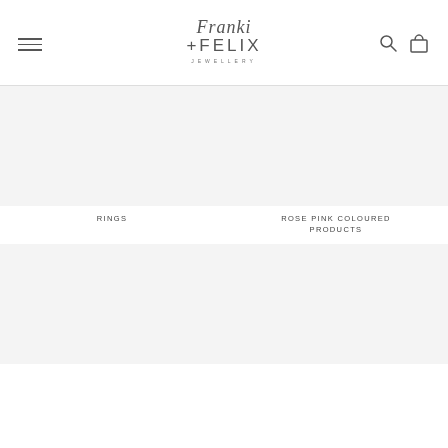Franki + Felix Jewellery
RINGS
ROSE PINK COLOURED PRODUCTS